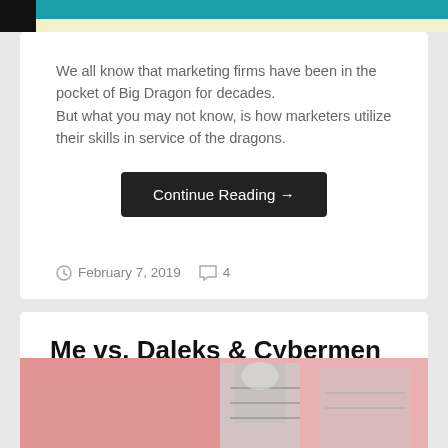[Figure (photo): Top strip showing partial image with black area on left, teal/cyan background, and light yellow area on right]
We all know that marketing firms have been in the pocket of Big Dragon for decades.
But what you may not know, is how marketers utilize their skills in service of the dragons.
Continue Reading →
February 7, 2019   4
Me vs. Daleks & Cybermen
[Figure (photo): Partial photo showing pink/red and illustrated robot/cyberman figure at bottom of page]